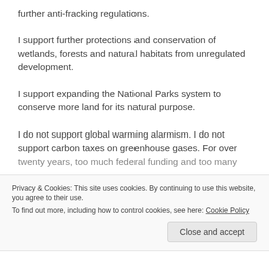further anti-fracking regulations.
I support further protections and conservation of wetlands, forests and natural habitats from unregulated development.
I support expanding the National Parks system to conserve more land for its natural purpose.
I do not support global warming alarmism. I do not support carbon taxes on greenhouse gases. For over twenty years, too much federal funding and too many
Privacy & Cookies: This site uses cookies. By continuing to use this website, you agree to their use.
To find out more, including how to control cookies, see here: Cookie Policy
Close and accept